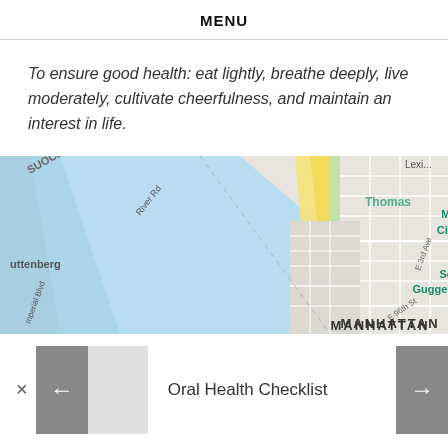MENU
To ensure good health: eat lightly, breathe deeply, live moderately, cultivate cheerfulness, and maintain an interest in life.
[Figure (map): Google Maps screenshot showing Manhattan, New York area including Museum of the City of New York, Solomon R. Guggenheim Museum, with Hudson River and surrounding streets visible. Labels include SUOCLIFF, River Rd, uttenberg, mperial Blvd, Thomas, Lexi, E 3rd Ave, E 96th St.]
× Oral Health Checklist